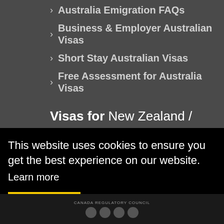Australia Emigration FAQs
Business & Employer Australian Visas
Short Stay Australian Visas
Free Assessment for Australia Visas
Visas for New Zealand / Canada / USA
Affiliated & Members of:
This website uses cookies to ensure you get the best experience on our website.
Learn more
Got it!
CANADA REGULATORY COUNCIL